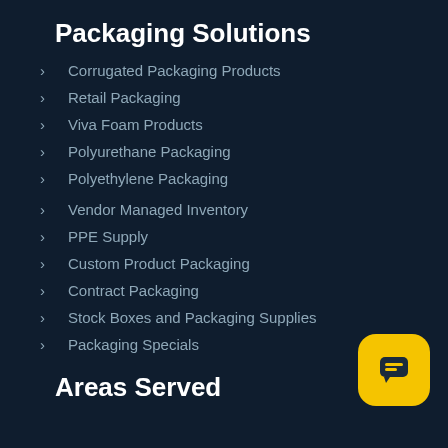Packaging Solutions
Corrugated Packaging Products
Retail Packaging
Viva Foam Products
Polyurethane Packaging
Polyethylene Packaging
Vendor Managed Inventory
PPE Supply
Custom Product Packaging
Contract Packaging
Stock Boxes and Packaging Supplies
Packaging Specials
Areas Served
[Figure (illustration): Yellow rounded square chat button with dark chat icon in bottom right corner]